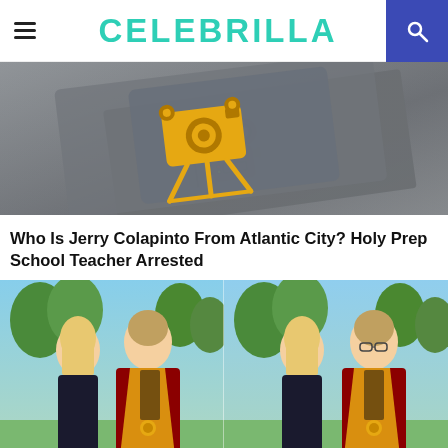CELEBRILLA
[Figure (photo): Grey card with gold/yellow film camera icon logo on it, angled view on grey background]
Who Is Jerry Colapinto From Atlantic City? Holy Prep School Teacher Arrested
[Figure (photo): Two side-by-side photos of a young male graduate in red and gold graduation robes with medal, standing next to a blonde woman in black dress, outdoors with trees in background]